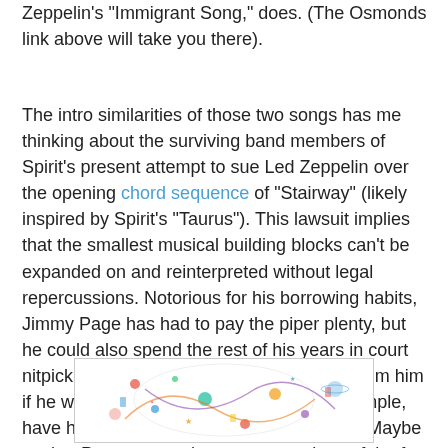Zeppelin's "Immigrant Song," does. (The Osmonds link above will take you there).
The intro similarities of those two songs has me thinking about the surviving band members of Spirit's present attempt to sue Led Zeppelin over the opening chord sequence of "Stairway" (likely inspired by Spirit's "Taurus"). This lawsuit implies that the smallest musical building blocks can't be expanded on and reinterpreted without legal repercussions. Notorious for his borrowing habits, Jimmy Page has had to pay the piper plenty, but he could also spend the rest of his years in court nitpicking over bands who've taken ideas from him if he wanted to.  Wouldn't Zeppelin, for example, have had grounds for suing the Osmonds? Maybe so, but Page was perhaps too conscious of the fact that he'd borrowed the "Immigrant Song" intro's vocal hook from "Bali Ha'i" to bear any ill will.
[Figure (illustration): Led Zeppelin III album cover artwork showing colorful illustrated swirling design with various small figures and objects on a white background]